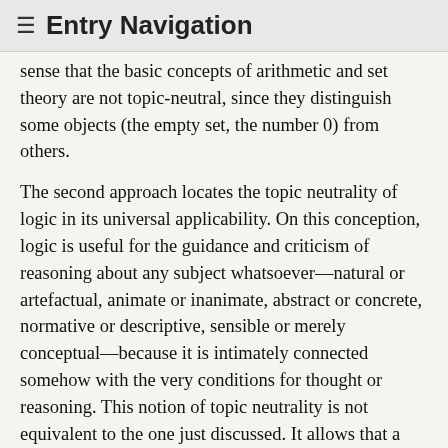≡ Entry Navigation
sense that the basic concepts of arithmetic and set theory are not topic-neutral, since they distinguish some objects (the empty set, the number 0) from others.
The second approach locates the topic neutrality of logic in its universal applicability. On this conception, logic is useful for the guidance and criticism of reasoning about any subject whatsoever—natural or artefactual, animate or inanimate, abstract or concrete, normative or descriptive, sensible or merely conceptual—because it is intimately connected somehow with the very conditions for thought or reasoning. This notion of topic neutrality is not equivalent to the one just discussed. It allows that a science with its own proprietary domain of objects, like arithmetic or set theory, might still count as topic-neutral in virtue of its completely general applicability. Thus, Frege, who took arithmetic to be about numbers, which he regarded as genuine objects, could still affirm its absolute topic neutrality:
…the basic propositions on which arithmetic is